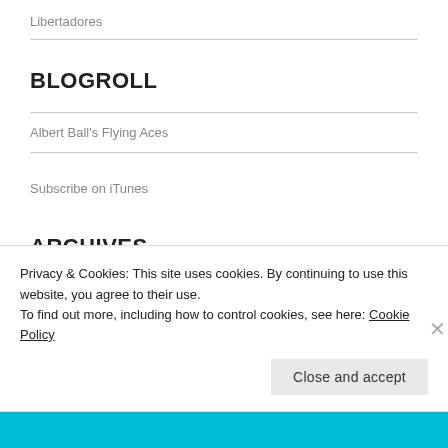Libertadores
BLOGROLL
Albert Ball's Flying Aces
Subscribe on iTunes
ARCHIVES
Privacy & Cookies: This site uses cookies. By continuing to use this website, you agree to their use.
To find out more, including how to control cookies, see here: Cookie Policy